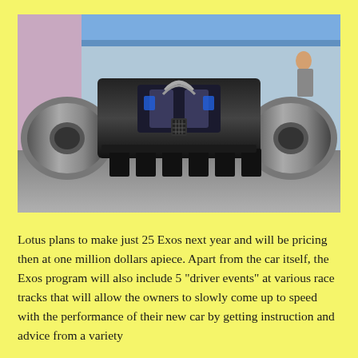[Figure (photo): Rear view of a Lotus Exos Formula-style race car on display, showing large slick tyres on either side, diffuser and rear wing elements, photographed from directly behind at a motor show or exhibition venue.]
Lotus plans to make just 25 Exos next year and will be pricing then at one million dollars apiece. Apart from the car itself, the Exos program will also include 5 "driver events" at various race tracks that will allow the owners to slowly come up to speed with the performance of their new car by getting instruction and advice from a variety